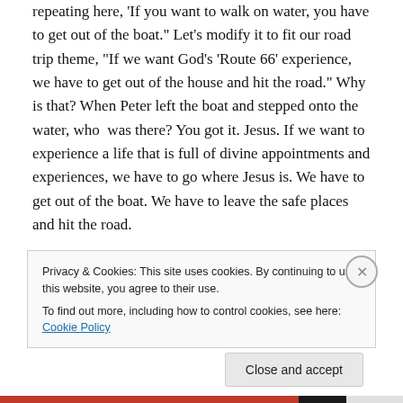repeating here, ‘If you want to walk on water, you have to get out of the boat.” Let’s modify it to fit our road trip theme, “If we want God’s ‘Route 66’ experience, we have to get out of the house and hit the road.” Why is that? When Peter left the boat and stepped onto the water, who was there? You got it. Jesus. If we want to experience a life that is full of divine appointments and experiences, we have to go where Jesus is. We have to get out of the boat. We have to leave the safe places and hit the road.

So, we are “Hittin’ The Road” in 2014. We are going to
Privacy & Cookies: This site uses cookies. By continuing to use this website, you agree to their use.
To find out more, including how to control cookies, see here: Cookie Policy
Close and accept